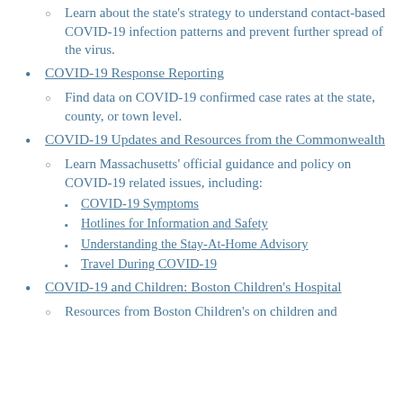Learn about the state's strategy to understand contact-based COVID-19 infection patterns and prevent further spread of the virus.
COVID-19 Response Reporting
Find data on COVID-19 confirmed case rates at the state, county, or town level.
COVID-19 Updates and Resources from the Commonwealth
Learn Massachusetts' official guidance and policy on COVID-19 related issues, including:
COVID-19 Symptoms
Hotlines for Information and Safety
Understanding the Stay-At-Home Advisory
Travel During COVID-19
COVID-19 and Children: Boston Children's Hospital
Resources from Boston Children's on children and